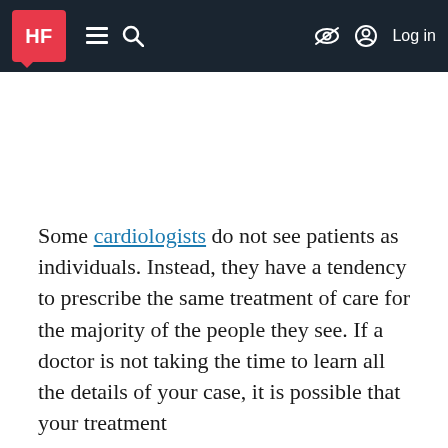HF [logo] ≡ 🔍 [eye-slash] Log in
Some cardiologists do not see patients as individuals. Instead, they have a tendency to prescribe the same treatment of care for the majority of the people they see. If a doctor is not taking the time to learn all the details of your case, it is possible that your treatment